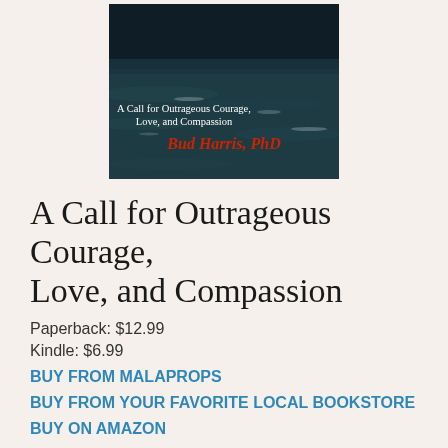[Figure (illustration): Book cover for 'A Call for Outrageous Courage, Love, and Compassion' by Bud Harris, PhD. Dark stormy ocean water background with white text for the subtitle and red bold text for the author name.]
A Call for Outrageous Courage, Love, and Compassion
Paperback: $12.99
Kindle: $6.99
BUY FROM MALAPROPS
BUY FROM YOUR FAVORITE LOCAL BOOKSTORE
BUY ON AMAZON
What does it really mean to